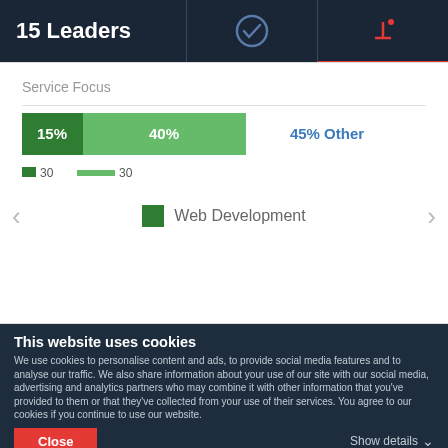15 Leaders
[Figure (stacked-bar-chart): Service Focus]
Web Development
[Figure (other): Clutch logo circle icon]
Visit Website
This website uses cookies
We use cookies to personalise content and ads, to provide social media features and to analyse our traffic. We also share information about your use of our site with our social media, advertising and analytics partners who may combine it with other information that you've provided to them or that they've collected from your use of their services. You agree to our cookies if you continue to use our website.
Close
Show details